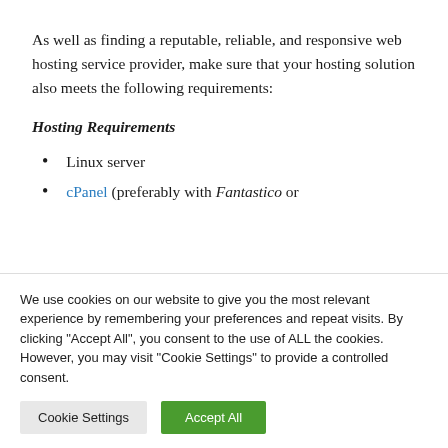As well as finding a reputable, reliable, and responsive web hosting service provider, make sure that your hosting solution also meets the following requirements:
Hosting Requirements
Linux server
cPanel (preferably with Fantastico or
We use cookies on our website to give you the most relevant experience by remembering your preferences and repeat visits. By clicking "Accept All", you consent to the use of ALL the cookies. However, you may visit "Cookie Settings" to provide a controlled consent.